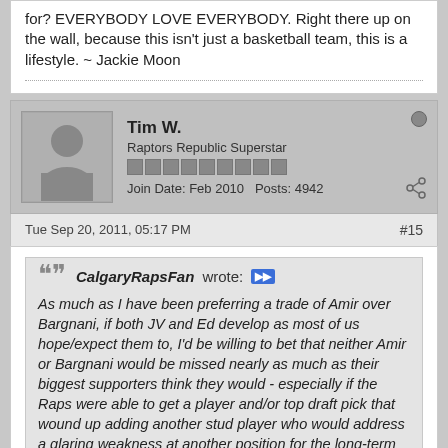for? EVERYBODY LOVE EVERYBODY. Right there up on the wall, because this isn't just a basketball team, this is a lifestyle. ~ Jackie Moon
Tim W.
Raptors Republic Superstar
Join Date: Feb 2010  Posts: 4942
Tue Sep 20, 2011, 05:17 PM  #15
CalgaryRapsFan wrote: As much as I have been preferring a trade of Amir over Bargnani, if both JV and Ed develop as most of us hope/expect them to, I'd be willing to bet that neither Amir or Bargnani would be missed nearly as much as their biggest supporters think they would - especially if the Raps were able to get a player and/or top draft pick that wound up adding another stud player who would address a glaring weakness at another position for the long-term for